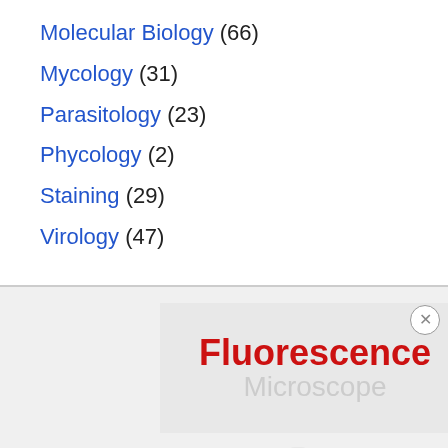Molecular Biology (66)
Mycology (31)
Parasitology (23)
Phycology (2)
Staining (29)
Virology (47)
[Figure (screenshot): Advertisement banner showing 'Fluorescence Microscope' text in red bold font on a light gray background, with a close (X) button on the right and faint microscope figures at the bottom.]